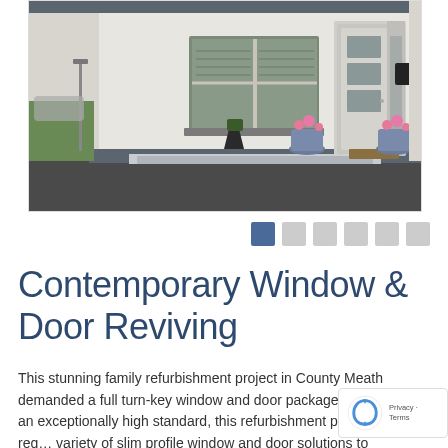[Figure (photo): Front exterior of a modern family home showing a contemporary front door with glass panels, double window with blinds, potted plants on steps, and paved driveway]
[Figure (infographic): Carousel navigation dots — one active blue dot followed by five grey dots]
Contemporary Window & Door Reviving
This stunning family refurbishment project in County Meath demanded a full turn-key window and door package. Built to an exceptionally high standard, this refurbishment project required a variety of slim profile window and door solutions to maximise